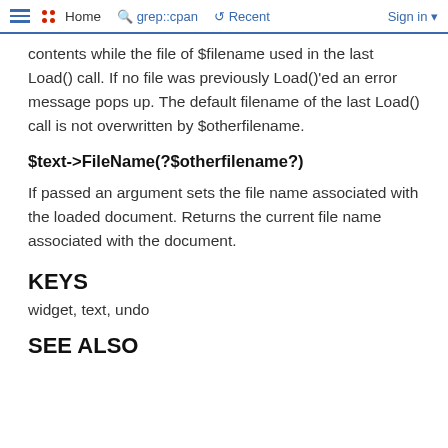Home  grep::cpan  Recent  Sign in
contents while the file of $filename used in the last Load() call. If no file was previously Load()'ed an error message pops up. The default filename of the last Load() call is not overwritten by $otherfilename.
$text->FileName(?$otherfilename?)
If passed an argument sets the file name associated with the loaded document. Returns the current file name associated with the document.
KEYS
widget, text, undo
SEE ALSO